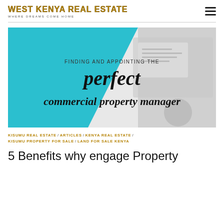WEST KENYA REAL ESTATE — WHERE DREAMS COME HOME
[Figure (illustration): Promotional banner image with teal/cyan background showing text overlay: 'FINDING AND APPOINTING THE perfect commercial property manager'. Background shows person working with documents.]
KISUMU REAL ESTATE / ARTICLES / KENYA REAL ESTATE / KISUMU PROPERTY FOR SALE / LAND FOR SALE KENYA
5 Benefits why engage Property